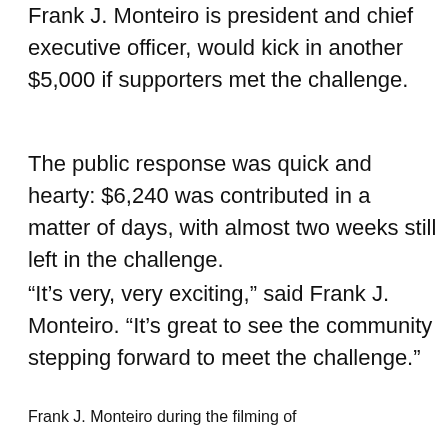Frank J. Monteiro is president and chief executive officer, would kick in another $5,000 if supporters met the challenge.
The public response was quick and hearty: $6,240 was contributed in a matter of days, with almost two weeks still left in the challenge.
“It’s very, very exciting,” said Frank J. Monteiro. “It’s great to see the community stepping forward to meet the challenge.”
Frank J. Monteiro during the filming of a promotional video about this endeavor.